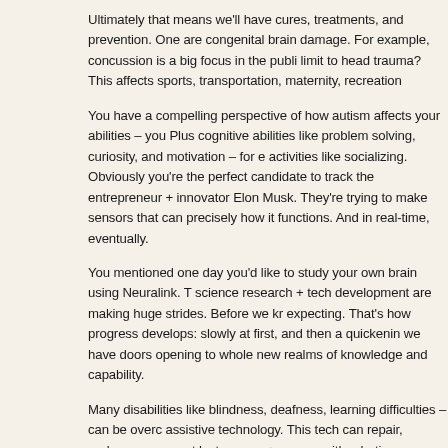Ultimately that means we'll have cures, treatments, and prevention. One are congenital brain damage. For example, concussion is a big focus in the publi limit to head trauma? This affects sports, transportation, maternity, recreation
You have a compelling perspective of how autism affects your abilities – you Plus cognitive abilities like problem solving, curiosity, and motivation – for e activities like socializing. Obviously you're the perfect candidate to track the entrepreneur + innovator Elon Musk. They're trying to make sensors that can precisely how it functions. And in real-time, eventually.
You mentioned one day you'd like to study your own brain using Neuralink. T science research + tech development are making huge strides. Before we kr expecting. That's how progress develops: slowly at first, and then a quickenin we have doors opening to whole new realms of knowledge and capability.
Many disabilities like blindness, deafness, learning difficulties – can be overc assistive technology. This tech can repair, replace, or support lost senses + co now with robotic prosthetics – tech will augment the human body. Eventual
– Ray Kurzweil
— letter —
Dear F